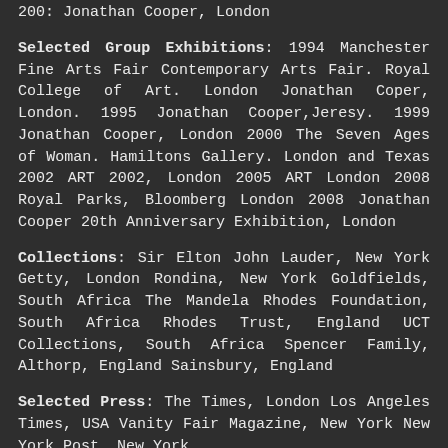Selected Group Exhibitions: 1994 Manchester Fine Arts Fair Contemporary Arts Fair. Royal College of Art. London Jonathan Coper, London. 1995 Jonathan Cooper,Jeresy. 1999 Jonathan Cooper, London 2000 The Seven Ages of Woman. Hamiltons Gallery. London and Texas 2002 ART 2002, London 2005 ART London 2008 Royal Parks, Bloomberg London 2008 Jonathan Cooper 20th Anniversary Exhibition, London
Collections: Sir Elton John Lauder, New York Getty, London Rondina, New York Goldfields, South Africa The Mandela Rhodes Foundation, South Africa Rhodes Trust, England UCT Collections, South Africa Spencer Family, Althorp, England Sainsbury, England
Selected Press: The Times, London Los Angeles Times, USA Vanity Fair Magazine, New York New York Post, New York